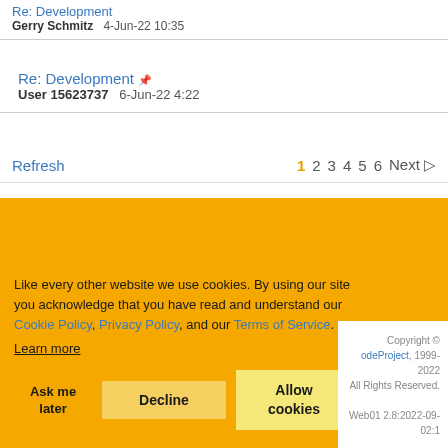Re: Development   Gerry Schmitz   4-Jun-22 10:35
Re: Development   User 15623737   6-Jun-22 4:22
Refresh   1  2  3  4  5  6  Next ▷
Like every other website we use cookies. By using our site you acknowledge that you have read and understand our Cookie Policy, Privacy Policy, and our Terms of Service. Learn more
Ask me later   Decline   Allow cookies
Copyright © CodeProject, 1999-2022 All Rights Reserved. Web01 2.8:2022-09- 02:1